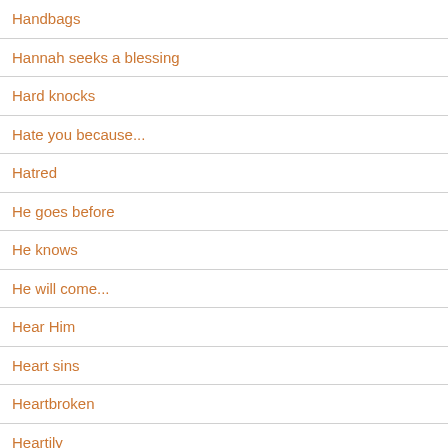Handbags
Hannah seeks a blessing
Hard knocks
Hate you because...
Hatred
He goes before
He knows
He will come...
Hear Him
Heart sins
Heartbroken
Heartily
Heaven